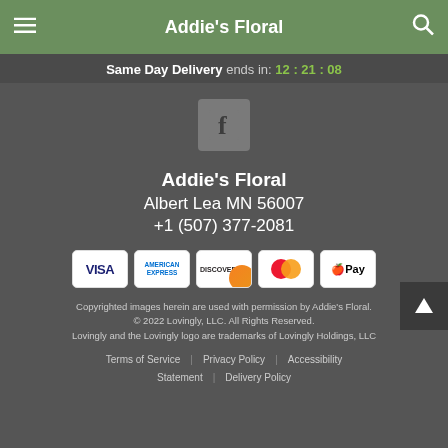Addie's Floral
Same Day Delivery ends in: 12:21:08
[Figure (logo): Facebook icon button — grey square with white 'f' letter logo]
Addie's Floral
Albert Lea MN 56007
+1 (507) 377-2081
[Figure (other): Payment method icons: Visa, American Express, Discover, Mastercard, Apple Pay]
Copyrighted images herein are used with permission by Addie's Floral. © 2022 Lovingly, LLC. All Rights Reserved. Lovingly and the Lovingly logo are trademarks of Lovingly Holdings, LLC
Terms of Service | Privacy Policy | Accessibility Statement | Delivery Policy